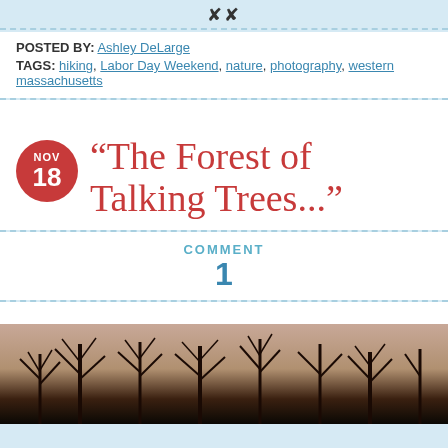XX
POSTED BY: Ashley DeLarge
TAGS: hiking, Labor Day Weekend, nature, photography, western massachusetts
“The Forest of Talking Trees...”
COMMENT
1
[Figure (photo): Black silhouette of bare winter trees against a warm pink and brown sky, photographed looking upward.]